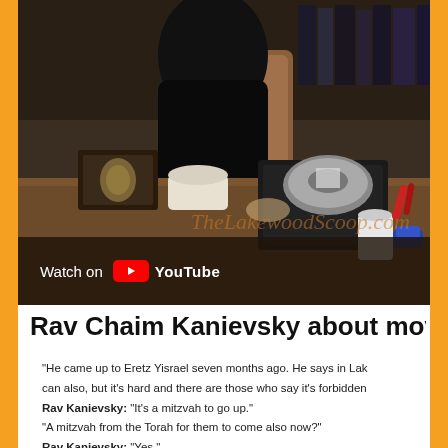[Figure (screenshot): YouTube video thumbnail showing a person at a desk with books and religious items, with a 'Watch on YouTube' overlay bar at the bottom. A watermark reads 'TheLakewoodScoop.com' in orange italic text.]
Rav Chaim Kanievsky about mov
"He came up to Eretz Yisrael seven months ago. He says in Lak can also, but it's hard and there are those who say it's forbidden Rav Kanievsky: "It's a mitzvah to go up." "A mitzvah from the Torah for them to come also now?" Rav Kanievsky: "Yes."